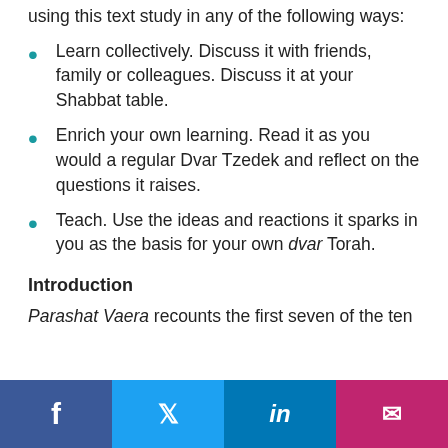using this text study in any of the following ways:
Learn collectively. Discuss it with friends, family or colleagues. Discuss it at your Shabbat table.
Enrich your own learning. Read it as you would a regular Dvar Tzedek and reflect on the questions it raises.
Teach. Use the ideas and reactions it sparks in you as the basis for your own dvar Torah.
Introduction
Parashat Vaera recounts the first seven of the ten plagues that devastated the land of Egypt...